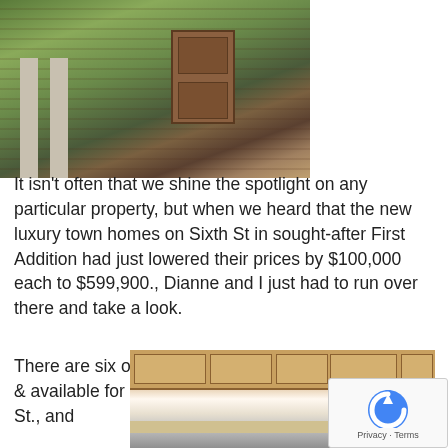[Figure (photo): Exterior photo of a brick townhome entrance with wooden double doors, columns/pillars, and surrounding greenery/trees]
It isn't often that we shine the spotlight on any particular property, but when we heard that the new luxury town homes on Sixth St in sought-after First Addition had just lowered their prices by $100,000 each to $599,900., Dianne and I just had to run over there and take a look.
There are six of these little gems with four of them left & available for purchase. The address is 363 Sixth St., and
[Figure (photo): Interior kitchen photo showing light wood cabinets, pendant lighting, window, white appliances, and kitchen counter]